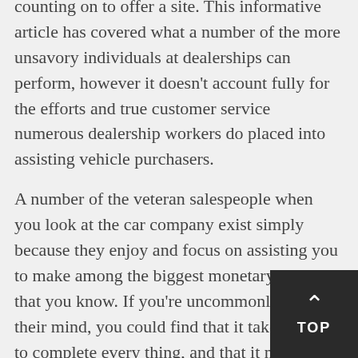counting on to offer a site. This informative article has covered what a number of the more unsavory individuals at dealerships can perform, however it doesn't account fully for the efforts and true customer service numerous dealership workers do placed into assisting vehicle purchasers.
A number of the veteran salespeople when you look at the car company exist simply because they enjoy and focus on assisting you to make among the biggest monetary choices that you know. If you're uncommonly rude in their mind, you could find that it takes longer to complete every thing, and that it may possibly be harder to negotiate on price — basically, it is in everyone's most useful interest to rehearse